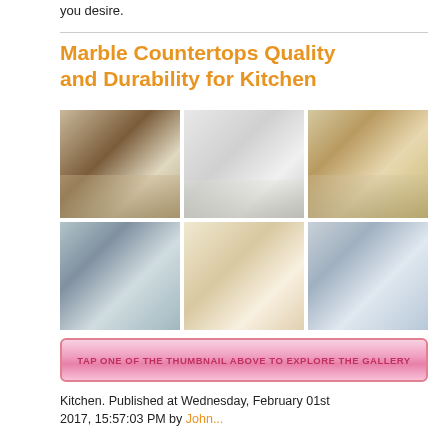you desire.
Marble Countertops Quality and Durability for Kitchen
[Figure (photo): A 3x2 grid of six kitchen photos showing marble countertops in various kitchen settings]
TAP ONE OF THE THUMBNAIL ABOVE TO EXPLORE THE GALLERY
Kitchen. Published at Wednesday, February 01st 2017, 15:57:03 PM by John...